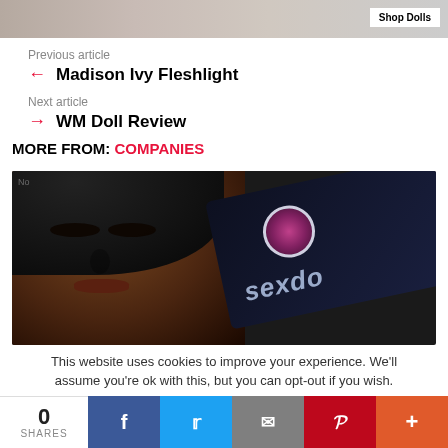[Figure (photo): Top banner image with Shop Dolls button]
Previous article
← Madison Ivy Fleshlight
Next article
→ WM Doll Review
MORE FROM: COMPANIES
[Figure (photo): Preview image showing a doll face and a dark tag with 'sexdo' text]
This website uses cookies to improve your experience. We'll assume you're ok with this, but you can opt-out if you wish.
0 SHARES